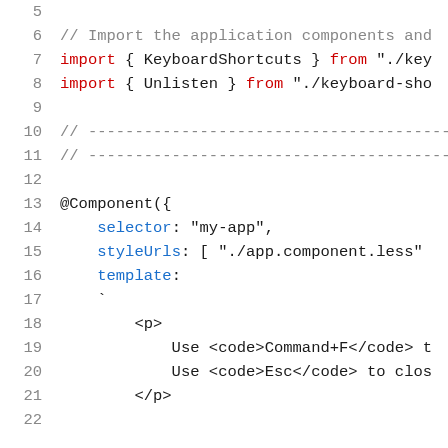Code snippet showing TypeScript/Angular component file lines 5–22
5  (blank)
6  // Import the application components and
7  import { KeyboardShortcuts } from "./key
8  import { Unlisten } from "./keyboard-sho
9  (blank)
10 // ---...---
11 // ---...---
12 (blank)
13 @Component({
14     selector: "my-app",
15     styleUrls: [ "./app.component.less"
16     template:
17     `
18         <p>
19             Use <code>Command+F</code> t
20             Use <code>Esc</code> to clos
21         </p>
22 (partial)